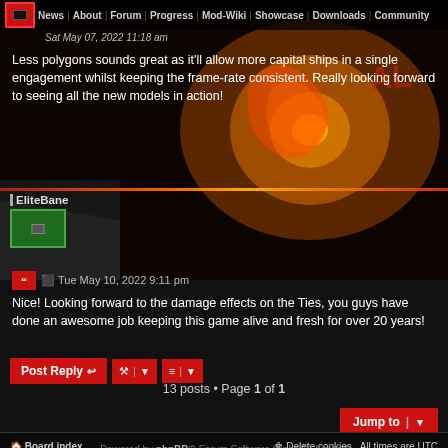News | About | Forum | Progress | Mod-Wiki | Showcase | Downloads | Community
Sat May 07, 2022 11:18 am
Less polygons sounds great as it'll allow more capital ships in a single engagement whilst keeping the frame-rate consistent. Really looking forward to seeing all the new models in action!
EliteBane
Tue May 10, 2022 9:11 pm
Nice! Looking forward to the damage effects on the Ties, you guys have done an awesome job keeping this game alive and fresh for over 20 years!
Post Reply
13 posts • Page 1 of 1
Jump to
Board index   Delete cookies   All times are UTC
Powered by phpBB® Forum Software © phpBB Limited